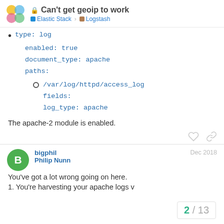Can't get geoip to work — Elastic Stack › Logstash
type: log
enabled: true
document_type: apache
paths:
/var/log/httpd/access_log
fields:
log_type: apache
The apache-2 module is enabled.
bigphil — Philip Nunn — Dec 2018
You've got a lot wrong going on here.
1. You're harvesting your apache logs v…
2 / 13